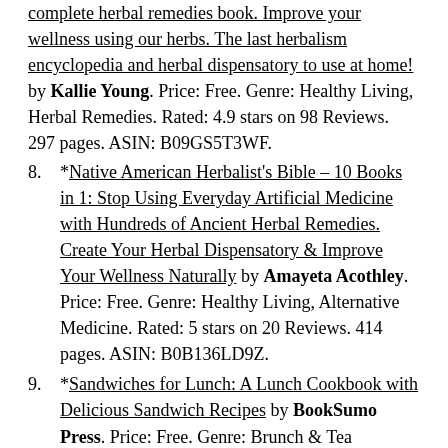(continuation) complete herbal remedies book. Improve your wellness using our herbs. The last herbalism encyclopedia and herbal dispensatory to use at home! by Kallie Young. Price: Free. Genre: Healthy Living, Herbal Remedies. Rated: 4.9 stars on 98 Reviews. 297 pages. ASIN: B09GS5T3WF.
8. *Native American Herbalist's Bible – 10 Books in 1: Stop Using Everyday Artificial Medicine with Hundreds of Ancient Herbal Remedies. Create Your Herbal Dispensatory & Improve Your Wellness Naturally by Amayeta Acothley. Price: Free. Genre: Healthy Living, Alternative Medicine. Rated: 5 stars on 20 Reviews. 414 pages. ASIN: B0B136LD9Z.
9. *Sandwiches for Lunch: A Lunch Cookbook with Delicious Sandwich Recipes by BookSumo Press. Price: Free. Genre: Brunch & Tea Cooking, Burger & Sandwich Recipes. Rated: 5 stars on 3 Reviews. 139 pages. ASIN: B07F187MF3.